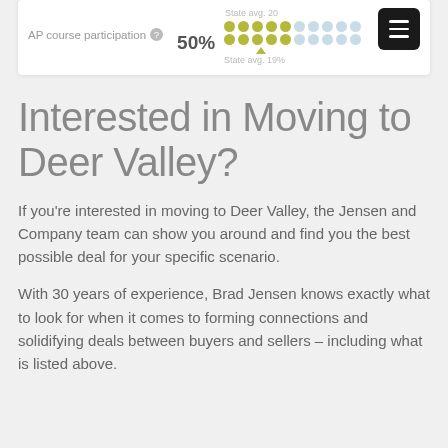[Figure (infographic): AP course participation card showing 50% with dot-grid visualization and state average of 19%, alongside a dark menu button]
Interested in Moving to Deer Valley?
If you're interested in moving to Deer Valley, the Jensen and Company team can show you around and find you the best possible deal for your specific scenario.
With 30 years of experience, Brad Jensen knows exactly what to look for when it comes to forming connections and solidifying deals between buyers and sellers – including what is listed above.